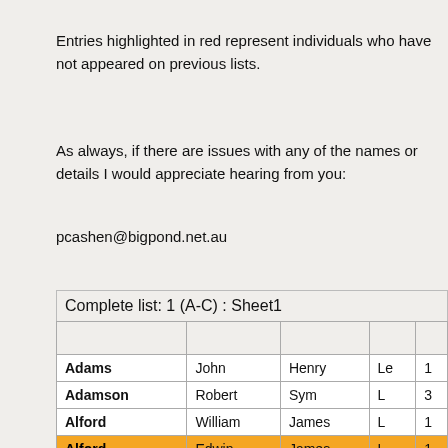Entries highlighted in red represent individuals who have not appeared on previous lists.
As always, if there are issues with any of the names or details I would appreciate hearing from you:
pcashen@bigpond.net.au
Complete list: 1 (A-C) : Sheet1
|  |  |  |  |  |
| --- | --- | --- | --- | --- |
| Adams | John | Henry | Le | 1 |
| Adamson | Robert | Sym | L | 3 |
| Alford | William | James | L | 1 |
| Alford | Edwin | James | L | 1 |
| Alford | William | Frank | L | 1 |
| Alford | Charles | Stanley | L | 1 |
| Allin | Frederick | George | L |  |